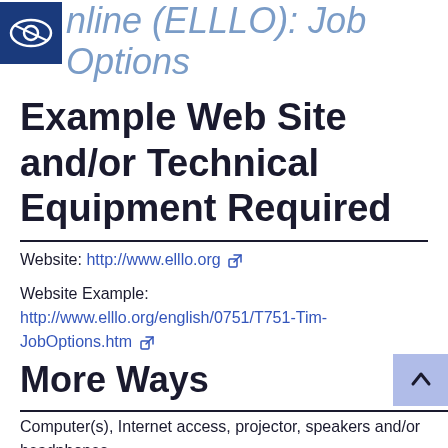English Language Learning Online (ELLLO): Job Options
Example Web Site and/or Technical Equipment Required
Website: http://www.elllo.org
Website Example: http://www.elllo.org/english/0751/T751-Tim-JobOptions.htm
More Ways
Computer(s), Internet access, projector, speakers and/or headphones